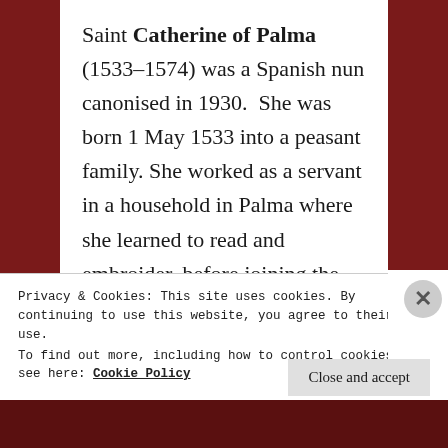Saint Catherine of Palma (1533–1574) was a Spanish nun canonised in 1930.  She was born 1 May 1533 into a peasant family. She worked as a servant in a household in Palma where she learned to read and embroider, before joining the Canonnesses of St Augustine at the convent of St Mary Magdalene in
Privacy & Cookies: This site uses cookies. By continuing to use this website, you agree to their use.
To find out more, including how to control cookies, see here: Cookie Policy
Close and accept